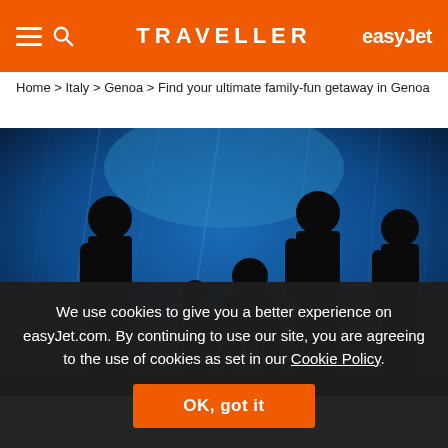TRAVELLER | easyJet
Home > Italy > Genoa > Find your ultimate family-fun getaway in Genoa
[Figure (photo): Silhouettes of a family (adults and children) standing in front of a large blue-lit aquarium tank]
We use cookies to give you a better experience on easyJet.com. By continuing to use our site, you are agreeing to the use of cookies as set in our Cookie Policy.
OK, got it